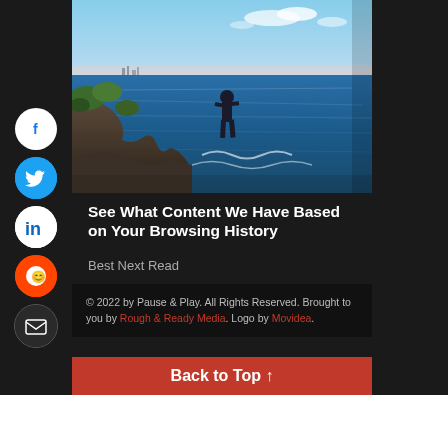[Figure (photo): A person standing on a rocky coastal cliff overlooking the ocean with a city skyline in the distance under a blue sky]
See What Content We Have Based on Your Browsing History
Best Next Read
© 2022 by Pause & Play. All Rights Reserved. Brought to you by Rough & Ready Media. Logo by Movidea.
Back to Top ↑